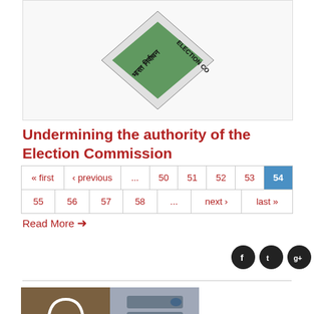[Figure (photo): Partial view of an Election Commission logo/seal with a diamond shape and green element, text partially visible reading 'ELECTION CO']
Undermining the authority of the Election Commission
Read More →
[Figure (other): Social media icons: Facebook, Twitter, Google+]
« first ‹ previous ... 50 51 52 53 54 55 56 57 58 ... next › last »
[Figure (photo): Bottom image showing a podcast/headphone icon with microphone on a brownish background on left, and electronic voting machine buttons on a grey background on right]